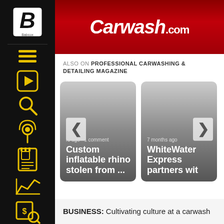Carwash.com
ALSO ON PROFESSIONAL CARWASHING & DETAILING MAGAZINE
[Figure (screenshot): Card showing 'rs ago · 1 comment' metadata and title 'Custom inflatable rhino stolen from ...' with left arrow navigation button]
[Figure (screenshot): Card showing '7 months ago' metadata and title 'WhiteWater Express partners with' with right arrow navigation button]
BUSINESS: Cultivating culture at a carwash